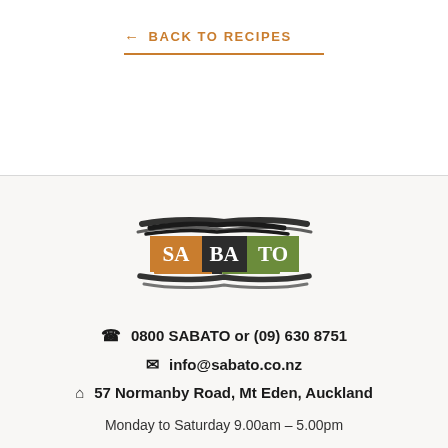← BACK TO RECIPES
[Figure (logo): SABATO logo with orange square containing 'SA', brown/black horizontal brush strokes, and green square containing 'TO', all spelling SABATO]
📞 0800 SABATO or (09) 630 8751
✉ info@sabato.co.nz
🏠 57 Normanby Road, Mt Eden, Auckland
Monday to Saturday 9.00am – 5.00pm